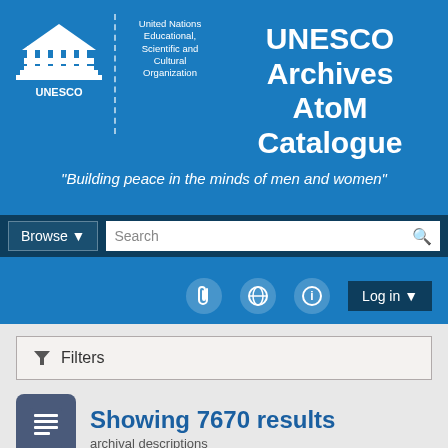[Figure (logo): UNESCO logo — columned building icon in white]
UNESCO Archives AtoM Catalogue
United Nations Educational, Scientific and Cultural Organization
"Building peace in the minds of men and women"
Browse
Search
Log in
Filters
Showing 7670 results
archival descriptions
Item ×